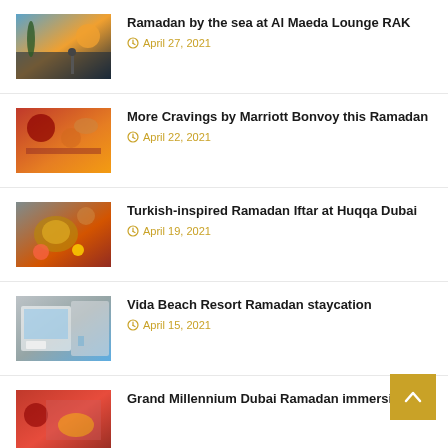Ramadan by the sea at Al Maeda Lounge RAK
April 27, 2021
More Cravings by Marriott Bonvoy this Ramadan
April 22, 2021
Turkish-inspired Ramadan Iftar at Huqqa Dubai
April 19, 2021
Vida Beach Resort Ramadan staycation
April 15, 2021
Grand Millennium Dubai Ramadan immersion